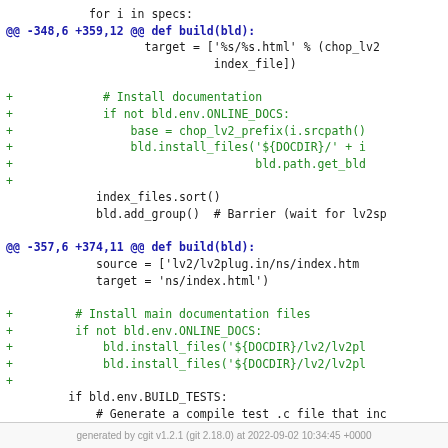[Figure (screenshot): Git diff code view showing patch hunks for a Python build script. Two diff hunks are shown: one at -348,6 +359,12 and another at -357,6 +374,11. Added lines (green +) include installation of documentation files. Context lines in blue/dark include index_files.sort(), bld.add_group(), source/target assignments, if bld.env.BUILD_TESTS block, gen_build_test function definition.]
generated by cgit v1.2.1 (git 2.18.0) at 2022-09-02 10:34:45 +0000